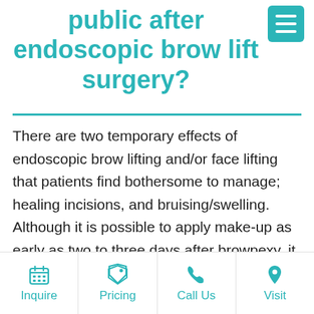public after endoscopic brow lift surgery?
There are two temporary effects of endoscopic brow lifting and/or face lifting that patients find bothersome to manage; healing incisions, and bruising/swelling. Although it is possible to apply make-up as early as two to three days after browpexy, it is probably not very useful. Doing this would camouflage bruising. The swelling and the incisions would not be addressed. This is because incision lines should not be covered
Inquire | Pricing | Call Us | Visit